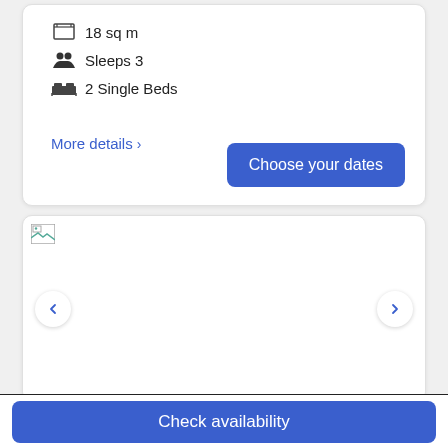18 sq m
Sleeps 3
2 Single Beds
More details >
Choose your dates
[Figure (photo): Hotel room image carousel with broken image placeholder and left/right navigation arrows]
Check availability